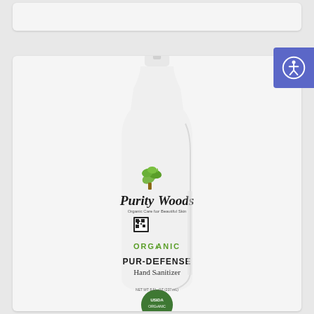[Figure (photo): Purity Woods Organic PUR-DEFENSE Hand Sanitizer product bottle with white pump dispenser, showing brand logo with green tree design, ORGANIC text in green, PUR-DEFENSE Hand Sanitizer label text, and USDA organic seal at bottom]
[Figure (screenshot): Accessibility button with person/wheelchair icon in blue/purple square on right edge of page]